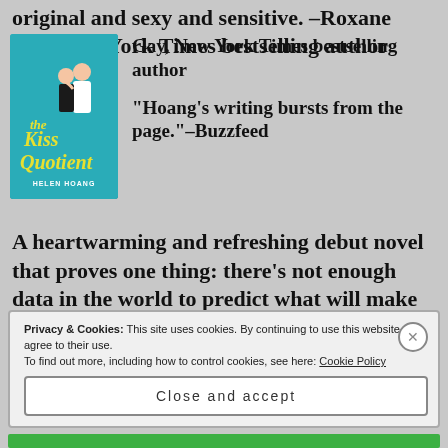original and sexy and sensitive. –Roxane Gay, New York Times bestselling author
[Figure (illustration): Book cover of 'The Kiss Quotient' by Helen Hoang — teal/turquoise background with illustrated couple embracing and yellow script title]
“Hoang’s writing bursts from the page.”–Buzzfeed
A heartwarming and refreshing debut novel that proves one thing: there’s not enough data in the world to predict what will make
Privacy & Cookies: This site uses cookies. By continuing to use this website, you agree to their use.
To find out more, including how to control cookies, see here: Cookie Policy
Close and accept